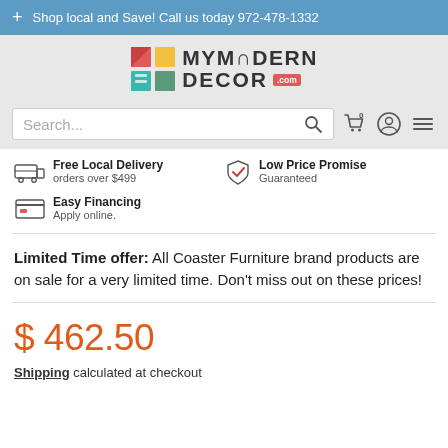Shop local and Save! Call us today 972-478-1332
[Figure (logo): MyModern Decor .com logo with colorful grid icon]
Search...
Free Local Delivery – orders over $499
Low Price Promise – Guaranteed
Easy Financing – Apply online.
Limited Time offer: All Coaster Furniture brand products are on sale for a very limited time. Don't miss out on these prices!
$ 462.50
Shipping calculated at checkout